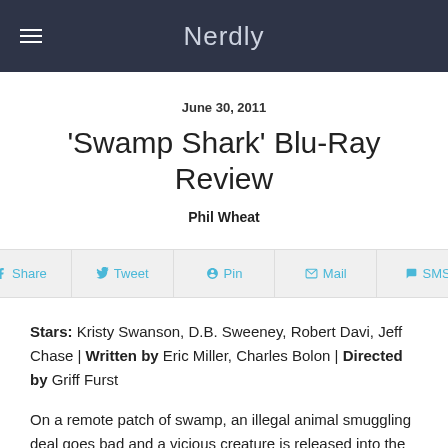Nerdly
June 30, 2011
'Swamp Shark' Blu-Ray Review
Phil Wheat
Share  Tweet  Pin  Mail  SMS
Stars: Kristy Swanson, D.B. Sweeney, Robert Davi, Jeff Chase | Written by Eric Miller, Charles Bolon | Directed by Griff Furst
On a remote patch of swamp, an illegal animal smuggling deal goes bad and a vicious creature is released into the river. Meanwhile, at the Broussard family-owned Gator